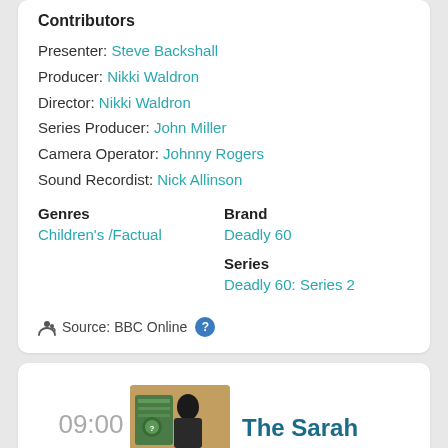Contributors
Presenter: Steve Backshall
Producer: Nikki Waldron
Director: Nikki Waldron
Series Producer: John Miller
Camera Operator: Johnny Rogers
Sound Recordist: Nick Allinson
Genres
Children's /Factual
Brand
Deadly 60
Series
Deadly 60: Series 2
Source: BBC Online
09:00
The Sarah